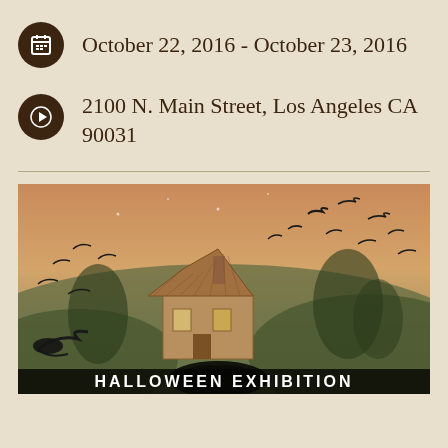October 22, 2016 - October 23, 2016
2100 N. Main Street, Los Angeles CA 90031
[Figure (illustration): Halloween exhibition illustration showing a haunted house with crows/ravens flying around it against a dramatic sky, with text 'HALLOWEEN EXHIBITION' at the bottom]
HALLOWEEN EXHIBITION